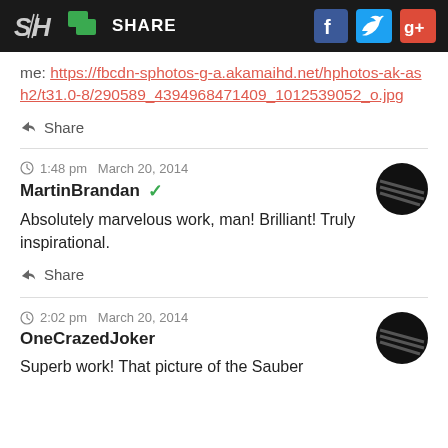[Figure (screenshot): Navigation bar with SH logo, green share icon, SHARE text, Facebook icon, Twitter icon, Google+ icon on dark background]
me: https://fbcdn-sphotos-g-a.akamaihd.net/hphotos-ak-ash2/t31.0-8/290589_4394968471409_1012539052_o.jpg
Share
1:48 pm  March 20, 2014
MartinBrandan
Absolutely marvelous work, man! Brilliant! Truly inspirational.
Share
2:02 pm  March 20, 2014
OneCrazedJoker
Superb work! That picture of the Sauber